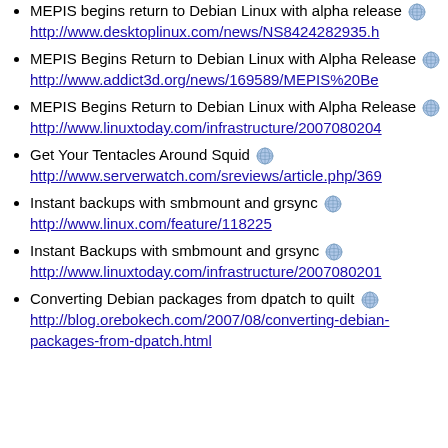MEPIS begins return to Debian Linux with alpha release [globe] http://www.desktoplinux.com/news/NS8424282935.h
MEPIS Begins Return to Debian Linux with Alpha Release [globe] http://www.addict3d.org/news/169589/MEPIS%20Be
MEPIS Begins Return to Debian Linux with Alpha Release [globe] http://www.linuxtoday.com/infrastructure/2007080204
Get Your Tentacles Around Squid [globe] http://www.serverwatch.com/sreviews/article.php/369
Instant backups with smbmount and grsync [globe] http://www.linux.com/feature/118225
Instant Backups with smbmount and grsync [globe] http://www.linuxtoday.com/infrastructure/2007080201
Converting Debian packages from dpatch to quilt [globe] http://blog.orebokech.com/2007/08/converting-debian-packages-from-dpatch.html